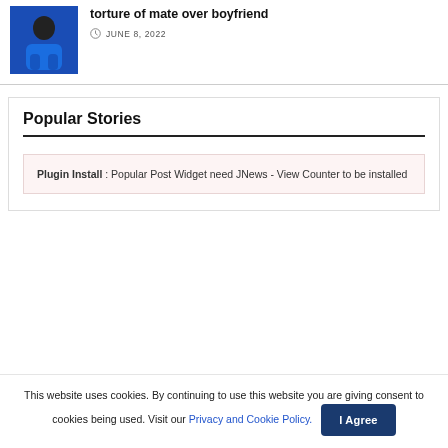[Figure (photo): Small thumbnail photo of a person wearing a blue outfit]
Three girls arrested in Durh... torture of mate over boyfriend
JUNE 8, 2022
Popular Stories
Plugin Install : Popular Post Widget need JNews - View Counter to be installed
This website uses cookies. By continuing to use this website you are giving consent to cookies being used. Visit our Privacy and Cookie Policy.